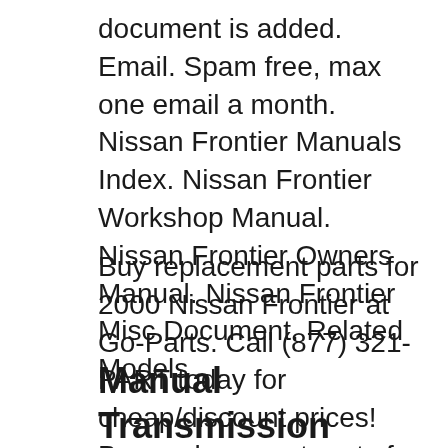document is added. Email. Spam free, max one email a month. Nissan Frontier Manuals Index. Nissan Frontier Workshop Manual. Nissan Frontier Owners Manual. Nissan Frontier Misc Document. Related Models
Buy replacement parts for 2000 Nissan Frontier at Go-Parts. Call (877) 321-PART today for cheap/discount prices! Buy replacement parts for 2000 Nissan Frontier at Go-Parts. Call (877) 321-PART today for cheap/discount prices!
Manual Transmission Problems of Nissan Frontier